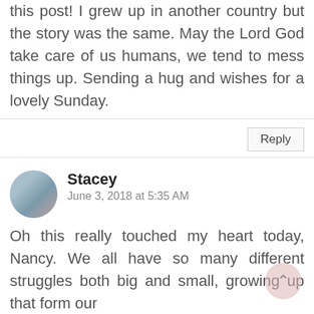this post! I grew up in another country but the story was the same. May the Lord God take care of us humans, we tend to mess things up. Sending a hug and wishes for a lovely Sunday.
Reply
Stacey
June 3, 2018 at 5:35 AM
Oh this really touched my heart today, Nancy. We all have so many different struggles both big and small, growing up that form our